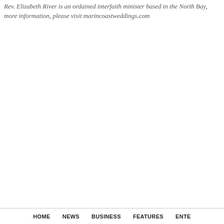Rev. Elizabeth River is an ordained interfaith minister based in the North Bay. For more information, please visit marincoastweddings.com
HOME   NEWS   BUSINESS   FEATURES   ENTE...